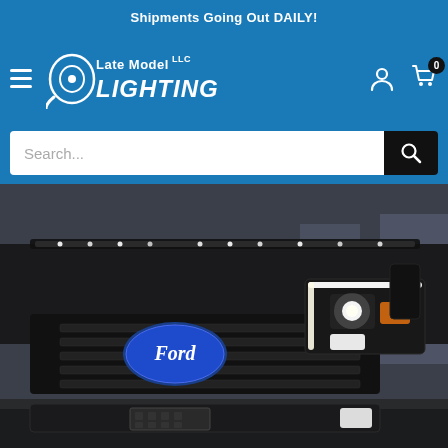Shipments Going Out DAILY!
[Figure (logo): Late Model LLC Lighting logo in white on blue background with hamburger menu, user icon, and cart icon with badge showing 0]
[Figure (other): Search bar with placeholder text 'Search...' and black search button with magnifying glass icon]
[Figure (photo): Close-up front view of a black Ford F-150 truck showing the Ford oval badge on the grille and LED headlights with bright white accent lighting strips, set against an urban background]